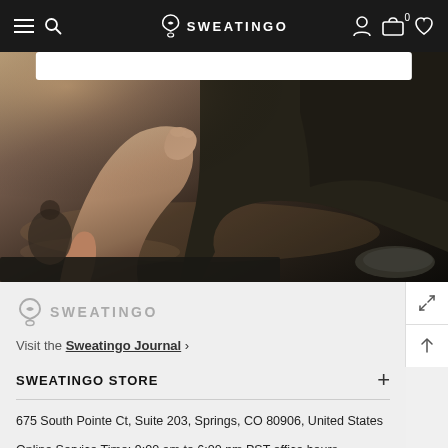SWEATINGO — navigation bar with hamburger menu, search icon, account, cart (0), wishlist
[Figure (photo): A person stretching / doing yoga on a mat, feet and legs visible in the foreground, warm ambient light, dark background with a search bar overlay at the top.]
[Figure (logo): Sweatingo logo in grey — stylized S icon and SWEATINGO wordmark]
Visit the Sweatingo Journal ›
SWEATINGO STORE
675 South Pointe Ct, Suite 203, Springs, CO 80906, United States
Online Service Time: 9:00 am to 6:00 pm PST office hours